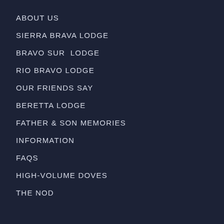ABOUT US
SIERRA BRAVA LODGE
BRAVO SUR  LODGE
RIO BRAVO LODGE
OUR FRIENDS SAY
BERETTA LODGE
FATHER & SON MEMORIES
INFORMATION
FAQS
HIGH-VOLUME DOVES
THE NOD